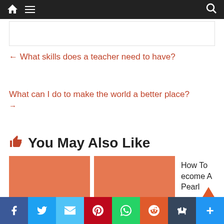Navigation bar with home, menu, and search icons
← What skills does a teacher need to have?
What can I do to make the world a better place? →
👍 You May Also Like
How To Become A Pearl